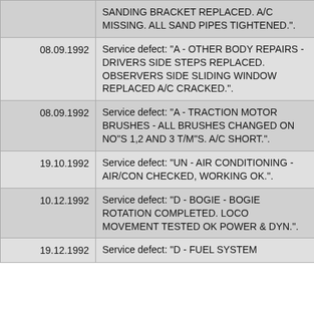| Date | Description |
| --- | --- |
|  | SANDING BRACKET REPLACED. A/C MISSING. ALL SAND PIPES TIGHTENED.". |
| 08.09.1992 | Service defect: "A - OTHER BODY REPAIRS - DRIVERS SIDE STEPS REPLACED. OBSERVERS SIDE SLIDING WINDOW REPLACED A/C CRACKED.". |
| 08.09.1992 | Service defect: "A - TRACTION MOTOR BRUSHES - ALL BRUSHES CHANGED ON NO"S 1,2 AND 3 T/M"S. A/C SHORT.". |
| 19.10.1992 | Service defect: "UN - AIR CONDITIONING - AIR/CON CHECKED, WORKING OK.". |
| 10.12.1992 | Service defect: "D - BOGIE - BOGIE ROTATION COMPLETED. LOCO MOVEMENT TESTED OK POWER & DYN.". |
| 19.12.1992 | Service defect: "D - FUEL SYSTEM |